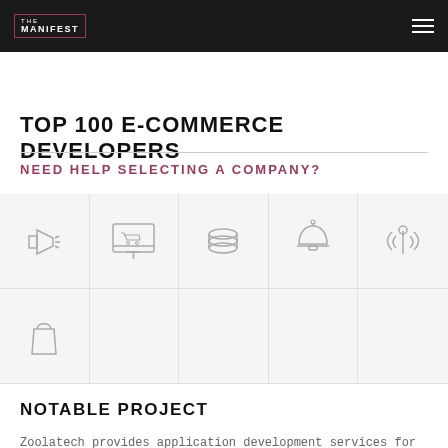THE MANIFEST
TOP 100 E-COMMERCE DEVELOPERS
NEED HELP SELECTING A COMPANY?
[Figure (illustration): Six icon grid showing: megaphone, shopping cart on monitor, stacked coins, service bell, microphone/signal icon, shopping bag. Represents e-commerce service categories.]
NOTABLE PROJECT
Zoolatech provides application development services for a solar design company. Their team is developing two apps, constantly adding and improving functionalities and features. The solution connects with APIs.